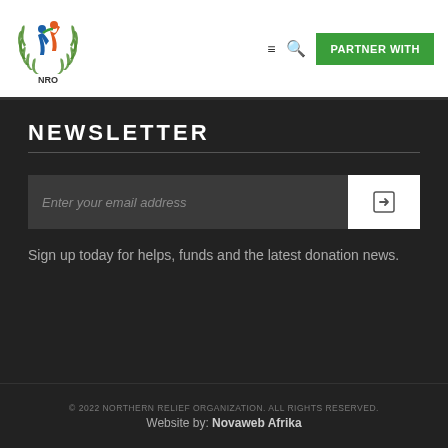[Figure (logo): NRO (Northern Relief Organization) logo with colorful figures and laurel wreath, NRO text below]
≡  🔍  PARTNER WITH
NEWSLETTER
Enter your email address
Sign up today for helps, funds and the latest donation news.
© 2022 NORTHERN RELIEF ORGANIZATION. ALL RIGHTS RESERVED.
Website by: Novaweb Afrika